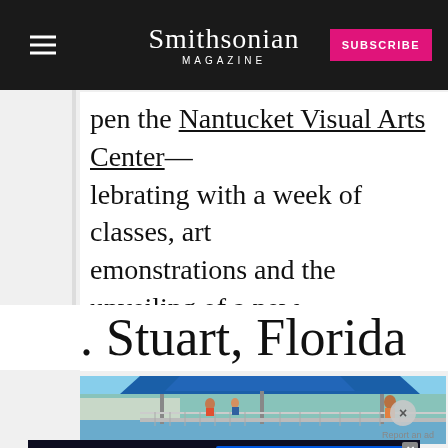Smithsonian Magazine — SUBSCRIBE
pen the Nantucket Visual Arts Center— lebrating with a week of classes, art emonstrations and the unveiling of a new ulpture garden.
. Stuart, Florida
[Figure (photo): Outdoor waterfront pavilion with blue canopy roof and railing, people visible, clear blue sky, sunny day in Stuart, Florida]
Report an ad
[Figure (infographic): Disney Bundle advertisement banner featuring hulu, Disney+, and ESPN+ logos with text GET THE DISNEY BUNDLE. Incl. Hulu (ad-supported) or Hulu (No Ads). Access content from each service separately. ©2021 Disney and its related entities.]